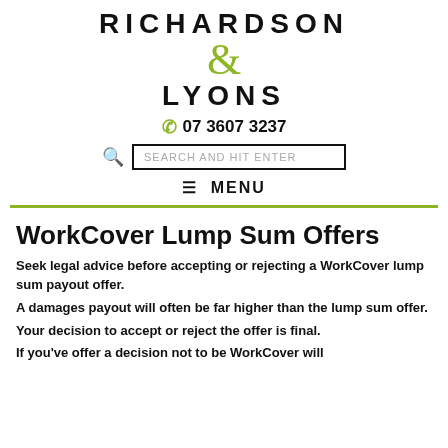[Figure (logo): Richardson & Lyons law firm logo with stylized ampersand in olive green]
07 3607 3237
SEARCH AND HIT ENTER
≡ MENU
WorkCover Lump Sum Offers
Seek legal advice before accepting or rejecting a WorkCover lump sum payout offer. A damages payout will often be far higher than the lump sum offer. Your decision to accept or reject the offer is final.
If you've offer a decision not to be WorkCover will...